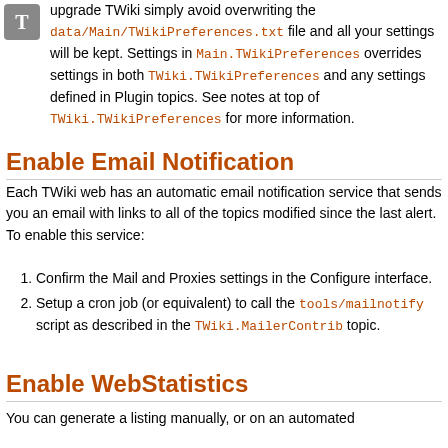upgrade TWiki simply avoid overwriting the data/Main/TWikiPreferences.txt file and all your settings will be kept. Settings in Main.TWikiPreferences overrides settings in both TWiki.TWikiPreferences and any settings defined in Plugin topics. See notes at top of TWiki.TWikiPreferences for more information.
Enable Email Notification
Each TWiki web has an automatic email notification service that sends you an email with links to all of the topics modified since the last alert. To enable this service:
Confirm the Mail and Proxies settings in the Configure interface.
Setup a cron job (or equivalent) to call the tools/mailnotify script as described in the TWiki.MailerContrib topic.
Enable WebStatistics
You can generate a listing manually, or on an automated